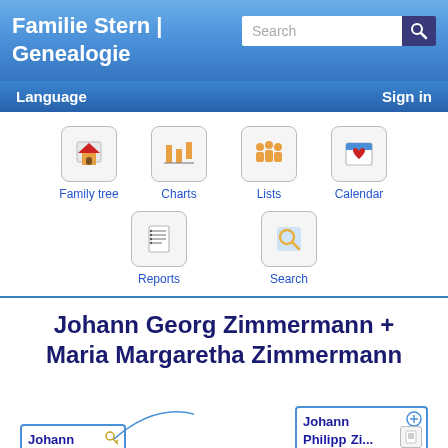Familie Stern | Genealogie
Language  Sign in
[Figure (screenshot): Navigation icon menu with: Family tree, Charts, Lists, Calendar, Reports, Search icons]
Johann Georg Zimmermann + Maria Margaretha Zimmermann
[Figure (other): Partial genealogy tree showing person cards for Johann (bottom left) and Johann Philipp Zi... (right)]